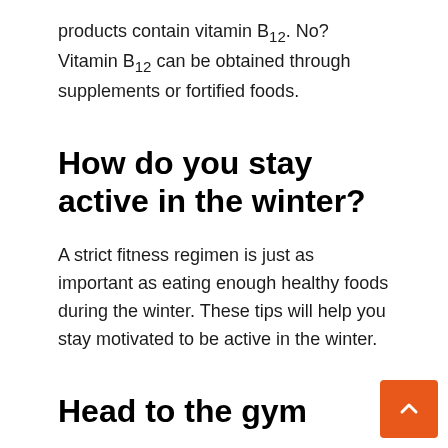products contain vitamin B12. No? Vitamin B12 can be obtained through supplements or fortified foods.
How do you stay active in the winter?
A strict fitness regimen is just as important as eating enough healthy foods during the winter. These tips will help you stay motivated to be active in the winter.
Head to the gym
There’s really no excuse not to work out when